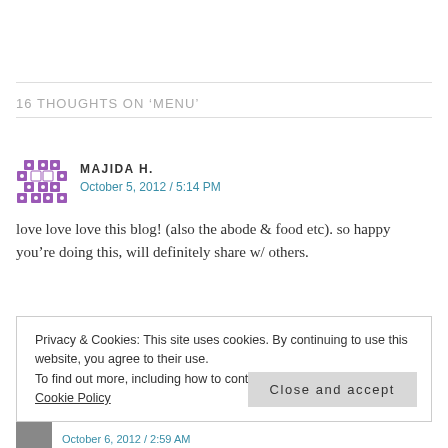16 THOUGHTS ON 'MENU'
MAJIDA H.
October 5, 2012 / 5:14 PM
love love love this blog! (also the abode & food etc). so happy you're doing this, will definitely share w/ others.
Privacy & Cookies: This site uses cookies. By continuing to use this website, you agree to their use.
To find out more, including how to control cookies, see here:
Cookie Policy
Close and accept
October 6, 2012 / 2:59 AM